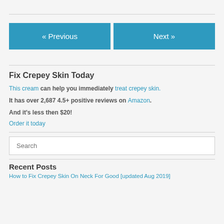« Previous
Next »
Fix Crepey Skin Today
This cream can help you immediately treat crepey skin.
It has over 2,687 4.5+ positive reviews on Amazon.
And it's less then $20!
Order it today
Search
Recent Posts
How to Fix Crepey Skin On Neck For Good [updated Aug 2019]